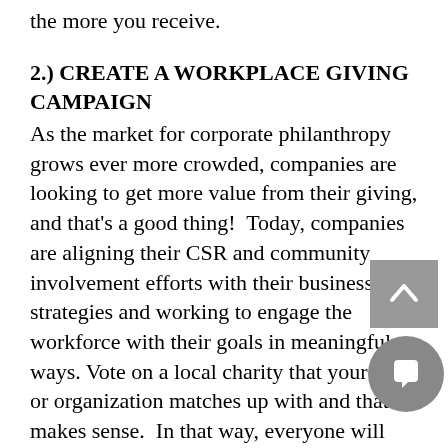the more you receive.
2.) CREATE A WORKPLACE GIVING CAMPAIGN
As the market for corporate philanthropy grows ever more crowded, companies are looking to get more value from their giving, and that’s a good thing!  Today, companies are aligning their CSR and community involvement efforts with their business strategies and working to engage the workforce with their goals in meaningful ways. Vote on a local charity that your team or organization matches up with and that makes sense.  In that way, everyone will feel more passionate about getting involved and supporting it.